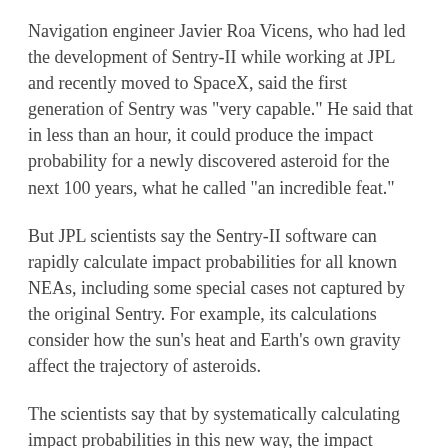Navigation engineer Javier Roa Vicens, who had led the development of Sentry-II while working at JPL and recently moved to SpaceX, said the first generation of Sentry was "very capable." He said that in less than an hour, it could produce the impact probability for a newly discovered asteroid for the next 100 years, what he called "an incredible feat."
But JPL scientists say the Sentry-II software can rapidly calculate impact probabilities for all known NEAs, including some special cases not captured by the original Sentry. For example, its calculations consider how the sun's heat and Earth's own gravity affect the trajectory of asteroids.
The scientists say that by systematically calculating impact probabilities in this new way, the impact monitoring system is more robust, enabling NASA to confidently assess all potential impacts with odds as low as a few chances in 10 million.
Since 2002, the JPL-managed CNEOS, at its headquarters